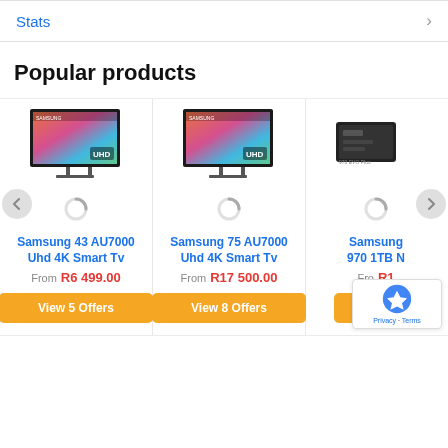Stats →
Popular products
[Figure (screenshot): Samsung 43 AU7000 UHD 4K Smart TV product card with image, price From R6 499.00, and View 5 Offers button]
[Figure (screenshot): Samsung 75 AU7000 UHD 4K Smart TV product card with image, price From R17 500.00, and View 8 Offers button]
[Figure (screenshot): Samsung 970 1TB NVMe SSD product card, partially visible, price starting with R1..., with View Offers button partially visible]